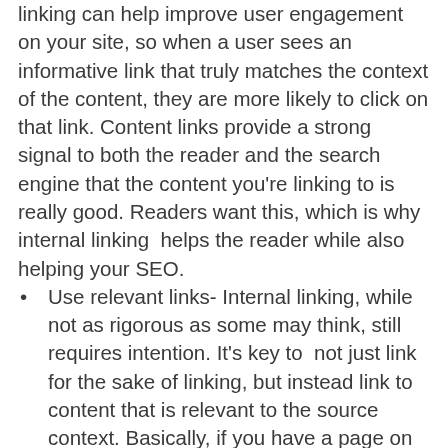linking can help improve user engagement on your site, so when a user sees an informative link that truly matches the context of the content, they are more likely to click on that link. Content links provide a strong signal to both the reader and the search engine that the content you're linking to is really good. Readers want this, which is why internal linking  helps the reader while also helping your SEO.
Use relevant links- Internal linking, while not as rigorous as some may think, still requires intention. It's key to  not just link for the sake of linking, but instead link to content that is relevant to the source context. Basically, if you have a page on your site about cat food and a page on your site about dog bites, you probably don't need to link the two because they don't provide mutual enhancement. However, if you have a page on dog food, it may make a good internal link for an article on an article about dog bites.
Use follow links- Follow links are the best